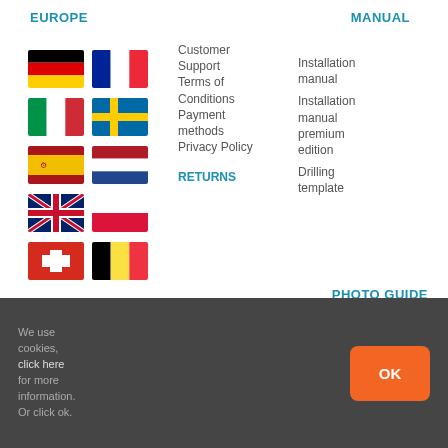EUROPE
[Figure (illustration): Six European country flags arranged in three rows of two: Germany and France, Italy and Sweden, Spain and Netherlands, UK and Poland, Switzerland and Belgium]
Customer Support
Terms of Conditions
Payment methods
Privacy Policy
RETURNS
MANUAL
Installation manual
Installation manual premium edition
Drilling template
PHOTO GUIDE
We use cookies, click here for more information. Or click ok.